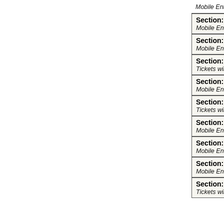Mobile Entry Tickets. Must have smart device on hand to e
Section: 112 | Row: E | Mobile Entry Tickets. Must have smart device on hand to e
Section: 112 | Row: L | Mobile Entry Tickets. Must have smart device on hand to e
Section: 113 | Row: V | Tickets will be ready for delivery by Oct 05, 2022.
Section: 113 | Row: W | Mobile Entry Tickets. Must have smart device on hand to e
Section: 111 | Row: J | Tickets will be ready for delivery by Oct 06, 2022.
Section: 107 | Row: D | Mobile Entry Tickets. Must have smart device on hand to e
Section: 106 | Row: B | Mobile Entry Tickets. Must have smart device on hand to e
Section: 113 | Row: W | Mobile Entry Tickets. Must have smart device on hand to e
Section: C4 | Row: F | Tickets will be ready for delivery by Oct 06, 2022.